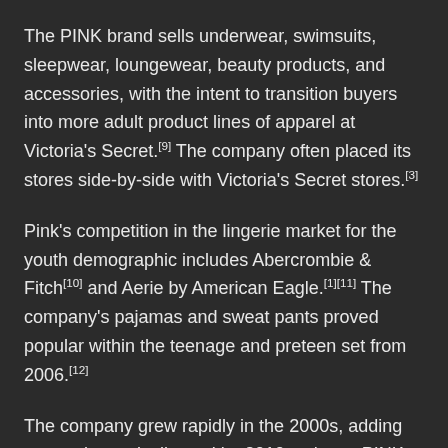The PINK brand sells underwear, swimsuits, sleepwear, loungewear, beauty products, and accessories, with the intent to transition buyers into more adult product lines of apparel at Victoria's Secret.[9] The company often placed its stores side-by-side with Victoria's Secret stores.[3]
Pink's competition in the lingerie market for the youth demographic includes Abercrombie & Fitch[10] and Aerie by American Eagle.[1][11] The company's pajamas and sweat pants proved popular within the teenage and preteen set from 2006.[12]
The company grew rapidly in the 2000s, adding stores domestically, and by 2010, sales at PINK reached $1 billion.[2] On November 1, 2009, PINK established its first stand-alone store in Canada,[13] prior to the main Victoria's